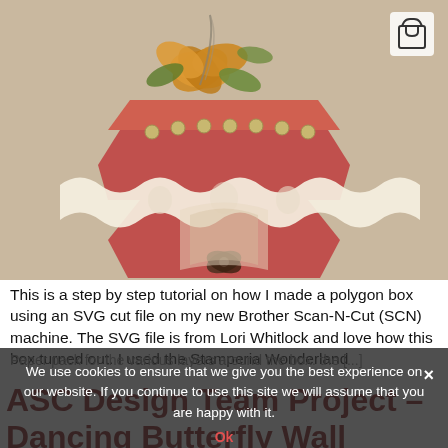[Figure (photo): A decorative polygon box covered with lace, paper layers, floral embellishments and ribbons, photographed on a textured background. A shopping cart icon appears in the upper right corner.]
This is a step by step tutorial on how I made a polygon box using an SVG cut file on my new Brother Scan-N-Cut (SCN) machine.  The SVG file is from Lori Whitlock and love how this box turned out.  I used the Stamperia Wonderland Paper pack for the various layers around the box. the [...]
We use cookies to ensure that we give you the best experience on our website. If you continue to use this site we will assume that you are happy with it.
ASC Design Team Project – Dancing Butterfly Wall Plaque